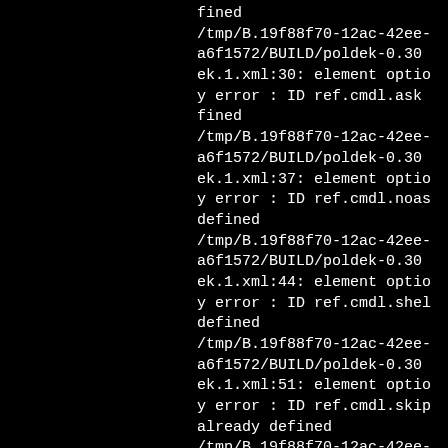fined
/tmp/B.19f88f70-12ac-42ee-a6f1572/BUILD/poldek-0.30 ek.1.xml:30: element optio y error : ID ref.cmdl.ask fined
/tmp/B.19f88f70-12ac-42ee-a6f1572/BUILD/poldek-0.30 ek.1.xml:37: element optio y error : ID ref.cmdl.noas defined
/tmp/B.19f88f70-12ac-42ee-a6f1572/BUILD/poldek-0.30 ek.1.xml:44: element optio y error : ID ref.cmdl.shel defined
/tmp/B.19f88f70-12ac-42ee-a6f1572/BUILD/poldek-0.30 ek.1.xml:51: element optio y error : ID ref.cmdl.skip already defined
/tmp/B.19f88f70-12ac-42ee-a6f1572/BUILD/poldek-0.30 ek.1.xml:58: element opti